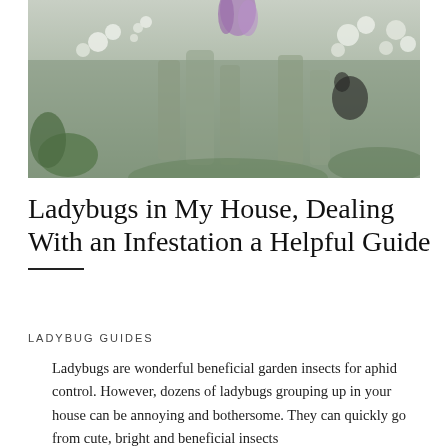[Figure (photo): Photograph of flowers — white and purple blossoms with green foliage and glass vases in a muted, desaturated tone.]
Ladybugs in My House, Dealing With an Infestation a Helpful Guide
LADYBUG GUIDES
Ladybugs are wonderful beneficial garden insects for aphid control. However, dozens of ladybugs grouping up in your house can be annoying and bothersome. They can quickly go from cute, bright and beneficial insects